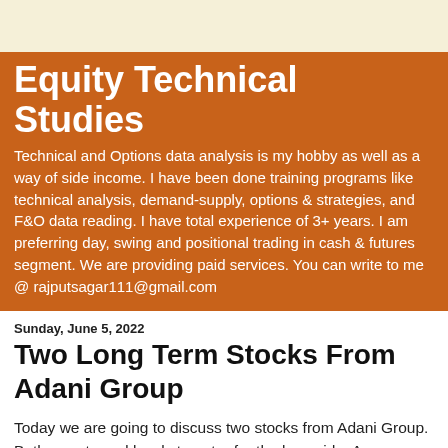Equity Technical Studies
Technical and Options data analysis is my hobby as well as a way of side income. I have been done training programs like technical analysis, demand-supply, options & strategies, and F&O data reading. I have total experience of 3+ years. I am preferring day, swing and positional trading in cash & futures segment. We are providing paid services. You can write to me @ rajputsagar111@gmail.com
Sunday, June 5, 2022
Two Long Term Stocks From Adani Group
Today we are going to discuss two stocks from Adani Group. Both are at good levels to enter for the long side. As we know Adani Group is very strong and both companies are very strong as per fundamentals. Both stock prices are